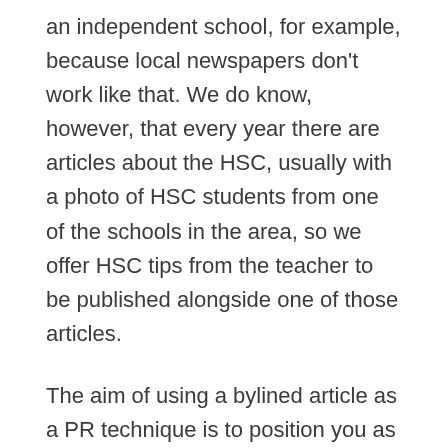an independent school, for example, because local newspapers don't work like that. We do know, however, that every year there are articles about the HSC, usually with a photo of HSC students from one of the schools in the area, so we offer HSC tips from the teacher to be published alongside one of those articles.
The aim of using a bylined article as a PR technique is to position you as an expert or thought leader, so make sure the content appears in a media outlet that will help you lift your profile with the right people, your potential customers. The good news is that these articles, in addition to your name, will often run a short bio of you and your business as part of your author profile, so the helpful content will be associated with your